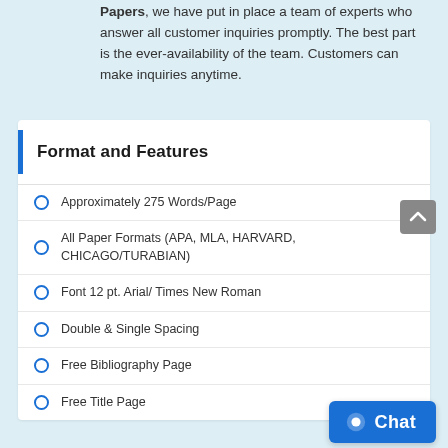Papers, we have put in place a team of experts who answer all customer inquiries promptly. The best part is the ever-availability of the team. Customers can make inquiries anytime.
Format and Features
Approximately 275 Words/Page
All Paper Formats (APA, MLA, HARVARD, CHICAGO/TURABIAN)
Font 12 pt. Arial/ Times New Roman
Double & Single Spacing
Free Bibliography Page
Free Title Page